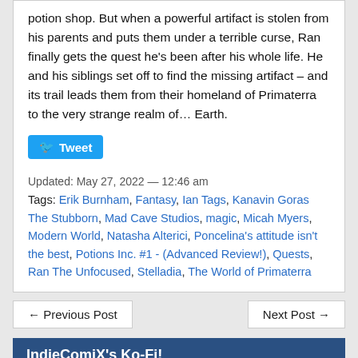potion shop. But when a powerful artifact is stolen from his parents and puts them under a terrible curse, Ran finally gets the quest he's been after his whole life. He and his siblings set off to find the missing artifact – and its trail leads them from their homeland of Primaterra to the very strange realm of… Earth.
Tweet
Updated: May 27, 2022 — 12:46 am
Tags: Erik Burnham, Fantasy, Ian Tags, Kanavin Goras The Stubborn, Mad Cave Studios, magic, Micah Myers, Modern World, Natasha Alterici, Poncelina's attitude isn't the best, Potions Inc. #1 - (Advanced Review!), Quests, Ran The Unfocused, Stelladia, The World of Primaterra
← Previous Post
Next Post →
IndieComiX's Ko-Fi!
If you like what we do please support us on Ko-Fi! It really means a lot!